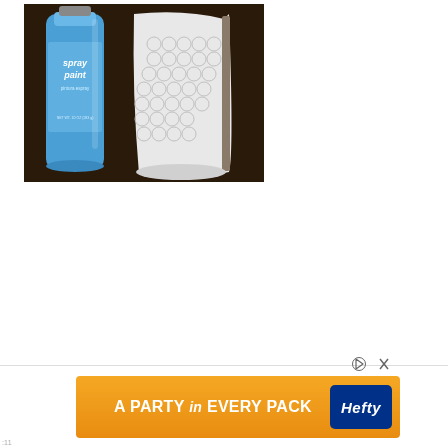[Figure (photo): A blue spray paint can next to a rolled piece of bubble wrap, placed on a dark brown wooden surface.]
[Figure (photo): Advertisement banner for Hefty brand with orange background. Text reads 'A PARTY in EVERY PACK' with Hefty logo on the right.]